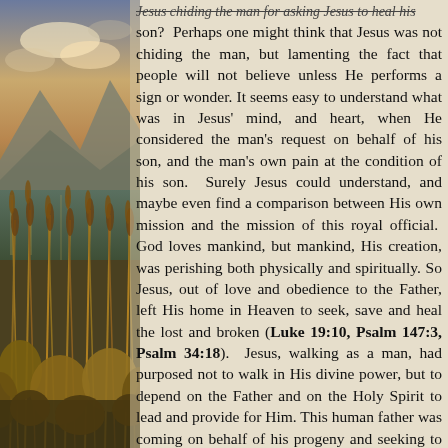[Figure (photo): Outdoor landscape photo showing a wetland or marsh scene with tall golden grasses and reeds in the foreground, mountains and cloudy sky in the background, with warm sunset/autumn lighting.]
Jesus chiding the man for asking Jesus to heal his son? Perhaps one might think that Jesus was not chiding the man, but lamenting the fact that people will not believe unless He performs a sign or wonder. It seems easy to understand what was in Jesus' mind, and heart, when He considered the man's request on behalf of his son, and the man's own pain at the condition of his son. Surely Jesus could understand, and maybe even find a comparison between His own mission and the mission of this royal official. God loves mankind, but mankind, His creation, was perishing both physically and spiritually. So Jesus, out of love and obedience to the Father, left His home in Heaven to seek, save and heal the lost and broken (Luke 19:10, Psalm 147:3, Psalm 34:18). Jesus, walking as a man, had purposed not to walk in His divine power, but to depend on the Father and on the Holy Spirit to lead and provide for Him. This human father was coming on behalf of his progeny and seeking to save his son. This father was depending on God. In this case the father had been